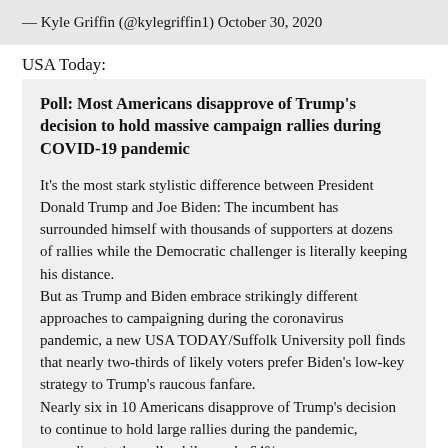— Kyle Griffin (@kylegriffin1) October 30, 2020
USA Today:
Poll: Most Americans disapprove of Trump's decision to hold massive campaign rallies during COVID-19 pandemic
It's the most stark stylistic difference between President Donald Trump and Joe Biden: The incumbent has surrounded himself with thousands of supporters at dozens of rallies while the Democratic challenger is literally keeping his distance.
But as Trump and Biden embrace strikingly different approaches to campaigning during the coronavirus pandemic, a new USA TODAY/Suffolk University poll finds that nearly two-thirds of likely voters prefer Biden's low-key strategy to Trump's raucous fanfare.
Nearly six in 10 Americans disapprove of Trump's decision to continue to hold large rallies during the pandemic, according to the poll, while nearly 64%